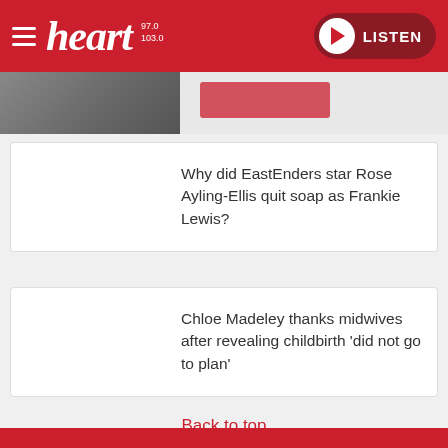heart 97.0 103.0 LISTEN
[Figure (screenshot): Partial image strip showing a person and a red banner, partially cropped at top]
Why did EastEnders star Rose Ayling-Ellis quit soap as Frankie Lewis?
Chloe Madeley thanks midwives after revealing childbirth 'did not go to plan'
Back to top